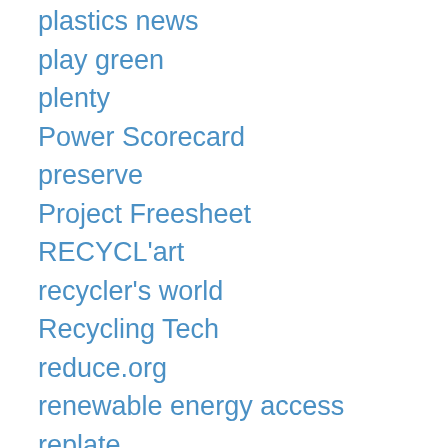plastics news
play green
plenty
Power Scorecard
preserve
Project Freesheet
RECYCL'art
recycler's world
Recycling Tech
reduce.org
renewable energy access
replate
resource recycling
rotten truth
Save Your Trash
shitbegone
soil association
Solid Waste
Solid Waste and Recycling Magazine
steel recycling institute